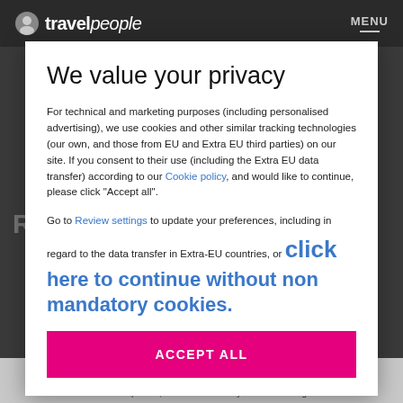travel people | MENU
We value your privacy
For technical and marketing purposes (including personalised advertising), we use cookies and other similar tracking technologies (our own, and those from EU and Extra EU third parties) on our site. If you consent to their use (including the Extra EU data transfer) according to our Cookie policy, and would like to continue, please click "Accept all".
Go to Review settings to update your preferences, including in regard to the data transfer in Extra-EU countries, or click here to continue without non mandatory cookies.
ACCEPT ALL
Find your perfect audience
As our brand partner, we will share with you the knowledge we